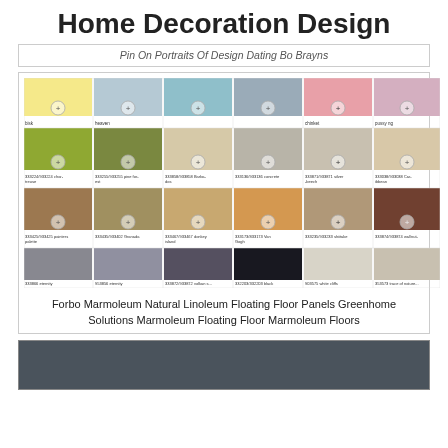Home Decoration Design
Pin On Portraits Of Design Dating Bo Brayns
[Figure (other): Color swatch grid showing Forbo Marmoleum linoleum flooring options in various colors and textures, with product codes and names]
Forbo Marmoleum Natural Linoleum Floating Floor Panels Greenhome Solutions Marmoleum Floating Floor Marmoleum Floors
[Figure (photo): Dark grey/charcoal textured surface, likely a flooring material sample]